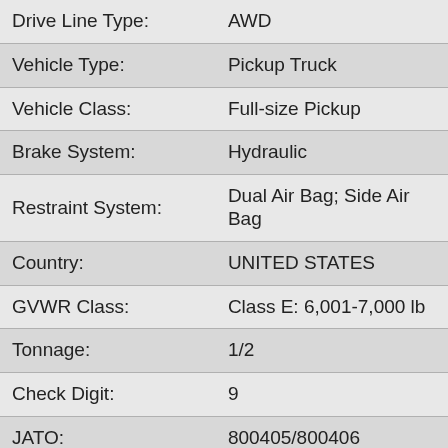| Field | Value |
| --- | --- |
| Drive Line Type: | AWD |
| Vehicle Type: | Pickup Truck |
| Vehicle Class: | Full-size Pickup |
| Brake System: | Hydraulic |
| Restraint System: | Dual Air Bag; Side Air Bag |
| Country: | UNITED STATES |
| GVWR Class: | Class E: 6,001-7,000 lb |
| Tonnage: | 1/2 |
| Check Digit: | 9 |
| JATO: | 800405/800406 |
| MPG: | A5:15-21-17 |
| AAIA: | 192522 |
| AAIA_ENGINE: | 9073 |
| AAIA_LEGACY: | 1503681 |
| AAIA_TRANSMIS | 2121 |